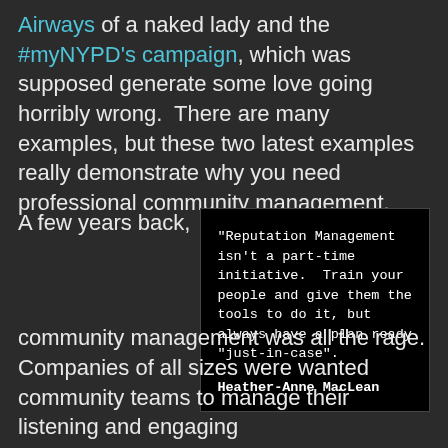Airways of a naked lady and the #myNYPD's campaign, which was supposed generate some love going horribly wrong.  There are many examples, but these two latest examples really demonstrate why you need professional community management.
A few years back,
[Figure (other): Dark quote card with white handwritten-style text: "Reputation Management isn't a part-time initiative.  Train your people and give them the tools to do it, but always have a plan ready "just-in-case". Heather-Anne MacLean"]
community management was all the rage. Companies of all sizes were wanted community teams to manage their listening and engaging